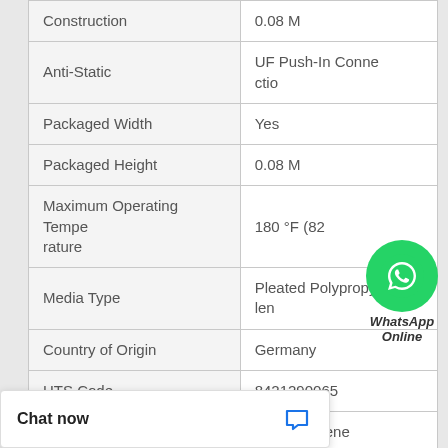| Property | Value |
| --- | --- |
| Construction | 0.08 M |
| Anti-Static | UF Push-In Connectio |
| Packaged Width | Yes |
| Packaged Height | 0.08 M |
| Maximum Operating Temperature | 180 °F (82… |
| Media Type | Pleated Polypropylene |
| Country of Origin | Germany |
| HTS Code | 8421290065 |
| End Cap Material | Polypropylene |
|  | 0.00384 M3 |